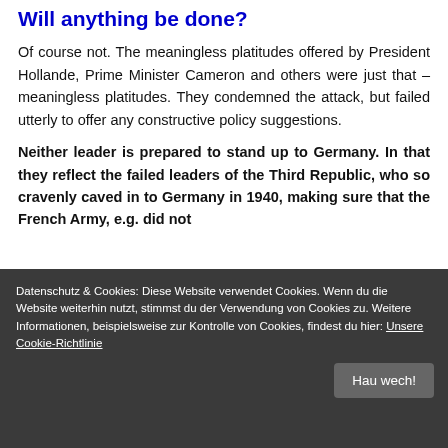Will anything be done?
Of course not. The meaningless platitudes offered by President Hollande, Prime Minister Cameron and others were just that – meaningless platitudes. They condemned the attack, but failed utterly to offer any constructive policy suggestions.
Neither leader is prepared to stand up to Germany. In that they reflect the failed leaders of the Third Republic, who so cravenly caved in to Germany in 1940, making sure that the French Army, e.g. did not
Datenschutz & Cookies: Diese Website verwendet Cookies. Wenn du die Website weiterhin nutzt, stimmst du der Verwendung von Cookies zu. Weitere Informationen, beispielsweise zur Kontrolle von Cookies, findest du hier: Unsere Cookie-Richtlinie
Hau wech!